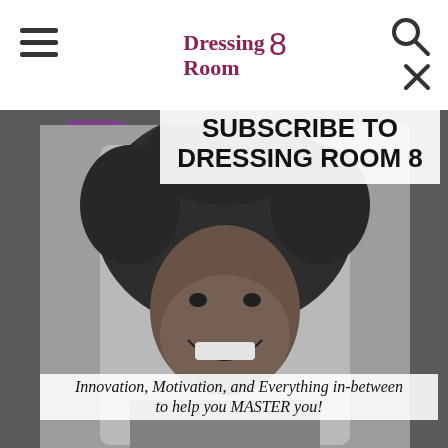Dressing Room 8
SUBSCRIBE TO DRESSING ROOM 8
[Figure (photo): Black and white photo of a smiling woman with large natural afro hair, background shows large decorative text 'BUSS' and other letters in purple/teal on grey]
Innovation, Motivation, and Everything in-between to help you MASTER you!